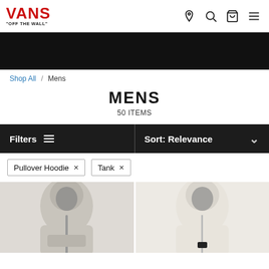[Figure (logo): Vans logo with 'OFF THE WALL' tagline in red and black]
[Figure (photo): Black hero banner image]
Shop All / Mens
MENS
50 ITEMS
Filters  Sort: Relevance
Pullover Hoodie ×
Tank ×
[Figure (photo): Two men's pullover hoodies displayed side by side — grey on left, cream/white on right]
VANS "OFF THE WALL"